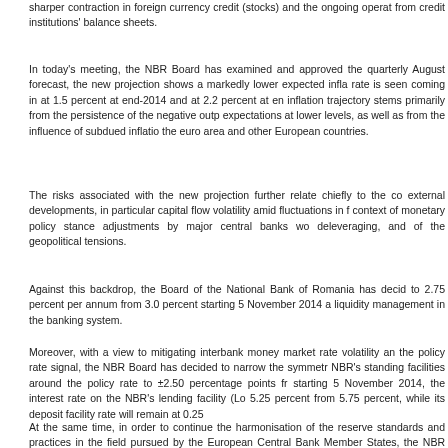sharper contraction in foreign currency credit (stocks) and the ongoing operation from credit institutions' balance sheets.
In today's meeting, the NBR Board has examined and approved the quarterly August forecast, the new projection shows a markedly lower expected inflation rate is seen coming in at 1.5 percent at end-2014 and at 2.2 percent at end inflation trajectory stems primarily from the persistence of the negative output expectations at lower levels, as well as from the influence of subdued inflation in the euro area and other European countries.
The risks associated with the new projection further relate chiefly to the co external developments, in particular capital flow volatility amid fluctuations in foreign context of monetary policy stance adjustments by major central banks worldwide deleveraging, and of the geopolitical tensions.
Against this backdrop, the Board of the National Bank of Romania has decided to 2.75 percent per annum from 3.0 percent starting 5 November 2014 and liquidity management in the banking system.
Moreover, with a view to mitigating interbank money market rate volatility and the policy rate signal, the NBR Board has decided to narrow the symmetric NBR's standing facilities around the policy rate to ±2.50 percentage points from starting 5 November 2014, the interest rate on the NBR's lending facility (Lombard) 5.25 percent from 5.75 percent, while its deposit facility rate will remain at 0.25
At the same time, in order to continue the harmonisation of the reserve standards and practices in the field pursued by the European Central Bank Member States, the NBR Board has decided to cut the minimum reserve requirements